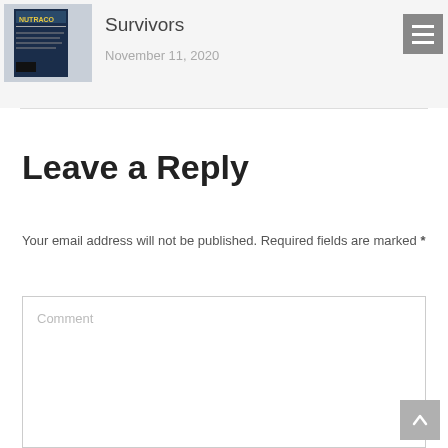Survivors — November 11, 2020
[Figure (screenshot): Book thumbnail image showing a dark blue cover with the word NUTRICO]
Survivors
November 11, 2020
Leave a Reply
Your email address will not be published. Required fields are marked *
Comment